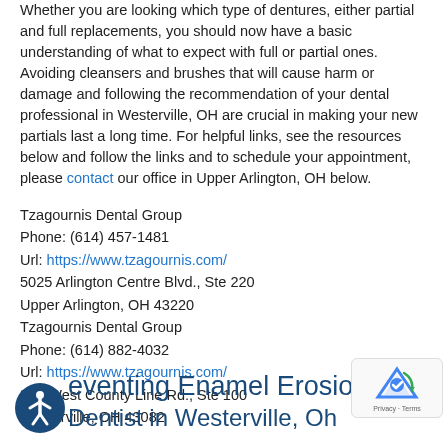Whether you are looking which type of dentures, either partial and full replacements, you should now have a basic understanding of what to expect with full or partial ones. Avoiding cleansers and brushes that will cause harm or damage and following the recommendation of your dental professional in Westerville, OH are crucial in making your new partials last a long time. For helpful links, see the resources below and follow the links and to schedule your appointment, please contact our office in Upper Arlington, OH below.
Tzagournis Dental Group
Phone: (614) 457-1481
Url: https://www.tzagournis.com/
5025 Arlington Centre Blvd., Ste 220
Upper Arlington, OH 43220
Tzagournis Dental Group
Phone: (614) 882-4032
Url: https://www.tzagournis.com/
385 West County Line Rd., Ste 100
Westerville, OH 43082
[Figure (logo): Accessibility icon (person in circle) and partial text 'eventing Enamel Erosio' and 'Dentist in Westerville, Oh' in dark navy blue]